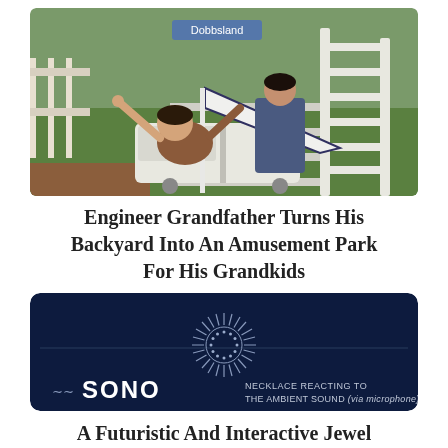[Figure (photo): A person riding a homemade backyard roller coaster, sitting in a white cart with arms raised, while another person in a blue jacket stands at the back pushing. The roller coaster is built from white wooden lumber in a green backyard. A blue street sign reading 'Dobbsland' is visible in the background.]
Engineer Grandfather Turns His Backyard Into An Amusement Park For His Grandkids
[Figure (photo): Dark navy blue advertisement/product image for SONO necklace. Shows a glowing circular radiant pattern in the center resembling a sun or sound wave visualization, with a thin horizontal line through it. At the bottom left is a wave logo and the word SONO in large white text, and to the right text reads 'NECKLACE REACTING TO THE AMBIENT SOUND (via microphone)'.]
A Futuristic And Interactive Jewel